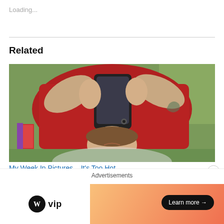Loading...
Related
[Figure (photo): Person lying on grass wearing red shirt, holding a smartphone above their face, photographed from an upside-down angle. Books and grass visible in background.]
My Week In Pictures – It's Too Hot
July 8, 2018
Advertisements
[Figure (logo): WordPress VIP logo with WordPress circle icon and 'vip' text, alongside an orange-gradient ad banner with 'Learn more' button]